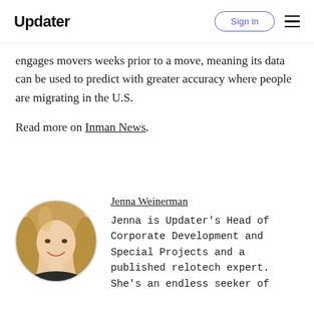Updater | Sign in
engages movers weeks prior to a move, meaning its data can be used to predict with greater accuracy where people are migrating in the U.S.
Read more on Inman News.
[Figure (photo): Circular portrait photo of Jenna Weinerman, a woman with long blonde-brown hair, smiling, wearing a dark top.]
Jenna Weinerman
Jenna is Updater's Head of Corporate Development and Special Projects and a published relotech expert. She's an endless seeker of